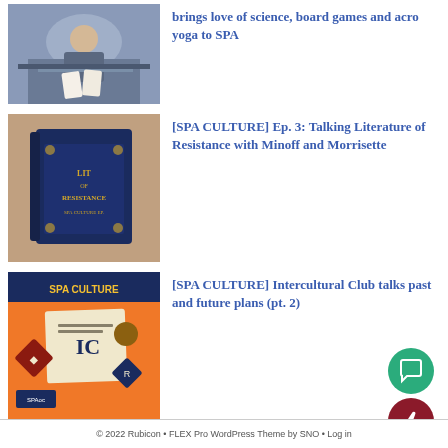[Figure (photo): Person at a table playing card or board game]
brings love of science, board games and acro yoga to SPA
[Figure (illustration): Illustrated dark blue book cover reading 'Lit of Resistance, SPA Culture Ep.']
[SPA CULTURE] Ep. 3: Talking Literature of Resistance with Minoff and Morrisette
[Figure (illustration): SPA Culture podcast artwork with orange background, IC card, diamond shapes]
[SPA CULTURE] Intercultural Club talks past and future plans (pt. 2)
[Figure (illustration): SPA Culture podcast artwork with orange background, IC card, diamond shapes]
[SPA CULTURE] Ep. 1: Line 3 bake sale with Intercultural Club (pt.1)
© 2022 Rubicon • FLEX Pro WordPress Theme by SNO • Log in